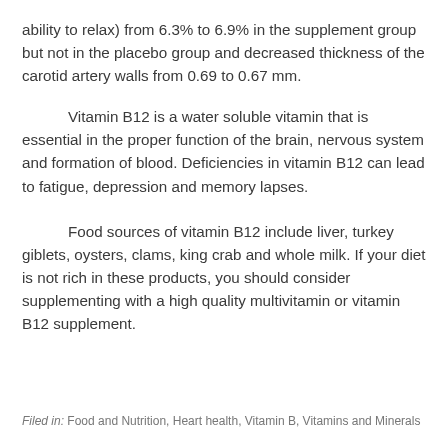ability to relax) from 6.3% to 6.9% in the supplement group but not in the placebo group and decreased thickness of the carotid artery walls from 0.69 to 0.67 mm.
Vitamin B12 is a water soluble vitamin that is essential in the proper function of the brain, nervous system and formation of blood. Deficiencies in vitamin B12 can lead to fatigue, depression and memory lapses.
Food sources of vitamin B12 include liver, turkey giblets, oysters, clams, king crab and whole milk. If your diet is not rich in these products, you should consider supplementing with a high quality multivitamin or vitamin B12 supplement.
Filed in:  Food and Nutrition,  Heart health,  Vitamin B,  Vitamins and Minerals